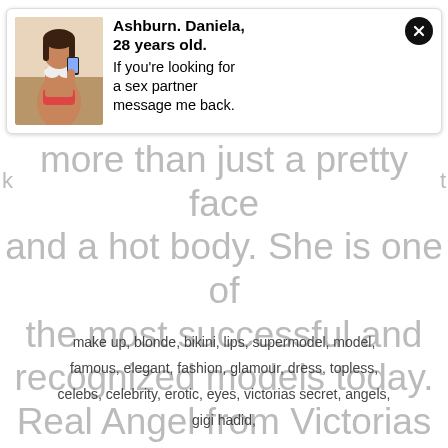[Figure (photo): Notification popup with photo of woman in bikini, title 'Ashburn. Daniela, 28 years old.' and message 'If you're looking for a sex partner message me back.' with close button]
more than just a pretty face and a hot body. She is one of the most successful and recognized models today. Real Angel from Victorias Secret.
make up, blonde, bikini, lips, supermodel, model, famous, elegant, fashion, glamour, dress, topless, celebs, celebrity, erotic, eyes, victorias secret, angels, gigi hadid,